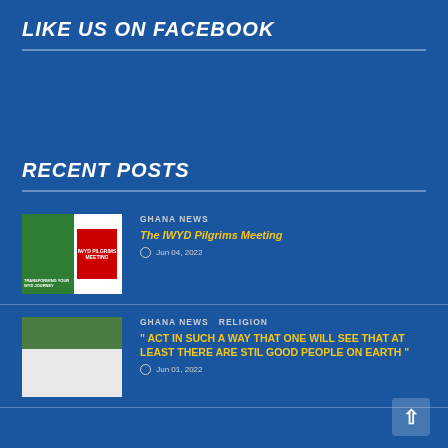LIKE US ON FACEBOOK
RECENT POSTS
[Figure (photo): Thumbnail image for IWYD Pilgrims Meeting post — green background with white panel and red text block]
GHANA NEWS
The IWYD Pilgrims Meeting
Jun 04, 2022
[Figure (photo): Thumbnail photo of a smiling man in white clerical collar against green and light background]
GHANA NEWS  RELIGION
" ACT IN SUCH A WAY THAT ONE WILL SEE THAT AT LEAST THERE ARE STIL GOOD PEOPLE ON EARTH "
Jun 01, 2022